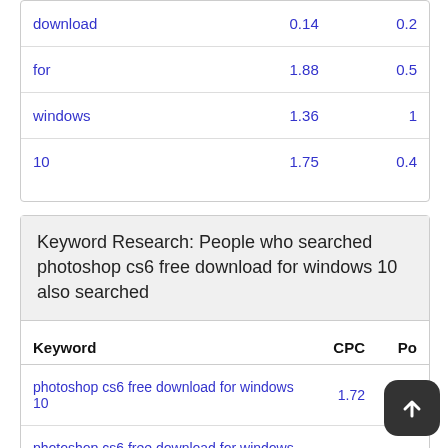| Keyword | CPC | Po |
| --- | --- | --- |
| download | 0.14 | 0.2 |
| for | 1.88 | 0.5 |
| windows | 1.36 | 1 |
| 10 | 1.75 | 0.4 |
Keyword Research: People who searched photoshop cs6 free download for windows 10 also searched
| Keyword | CPC | Po |
| --- | --- | --- |
| photoshop cs6 free download for windows 10 | 1.72 | 0. |
| photoshop cs6 free download for windows 11 | 0.65 | 0. |
| photoshop cs6 free download for windows 8 | 0.5 |  |
| photoshop cs6 free download for windows 7 | 1.74 | 0. |